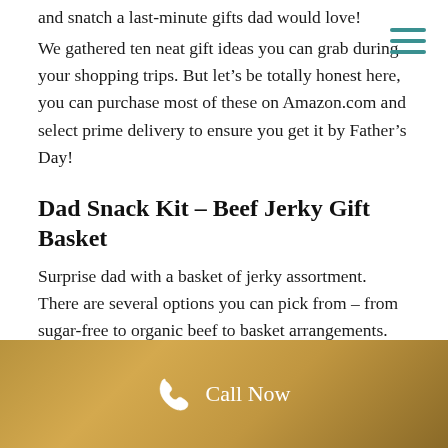and snatch a last-minute gifts dad would love!
We gathered ten neat gift ideas you can grab during your shopping trips. But let’s be totally honest here, you can purchase most of these on Amazon.com and select prime delivery to ensure you get it by Father’s Day!
Dad Snack Kit – Beef Jerky Gift Basket
Surprise dad with a basket of jerky assortment. There are several options you can pick from – from sugar-free to organic beef to basket arrangements.
Click here to see all the Jerky Gift Baskets For Dad
Call Now